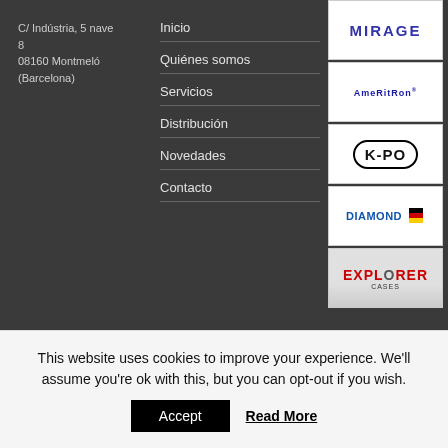C/ Indústria, 5 nave 8
08160 Montmeló (Barcelona)
Inicio
Quiénes somos
Servicios
Distribución
Novedades
Contacto
[Figure (logo): MIRAGE logo in blue bold letters]
[Figure (logo): Ameritron logo in blue bold letters]
[Figure (logo): K-PO logo in oval border]
[Figure (logo): Diamond logo with German flag]
[Figure (logo): Explorer Cases logo in red and grey]
This website uses cookies to improve your experience. We'll assume you're ok with this, but you can opt-out if you wish.
Accept
Read More